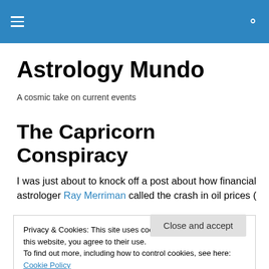Astrology Mundo — navigation header with hamburger menu and search icon
Astrology Mundo
A cosmic take on current events
The Capricorn Conspiracy
I was just about to knock off a post about how financial astrologer Ray Merriman called the crash in oil prices (
Privacy & Cookies: This site uses cookies. By continuing to use this website, you agree to their use.
To find out more, including how to control cookies, see here: Cookie Policy
[Close and accept]
astrologer Michael Lutin made a joke that some of his